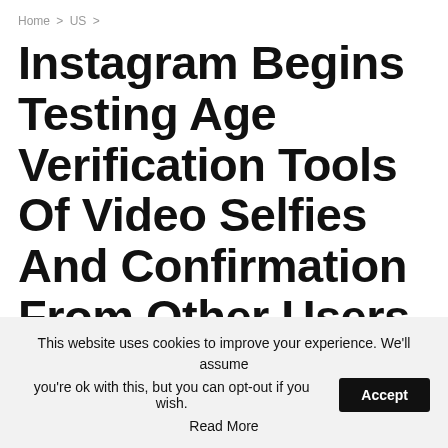Home > US >
Instagram Begins Testing Age Verification Tools Of Video Selfies And Confirmation From Other Users
By Jacky — On Jun 23, 2022 US
This website uses cookies to improve your experience. We'll assume you're ok with this, but you can opt-out if you wish. Accept Read More